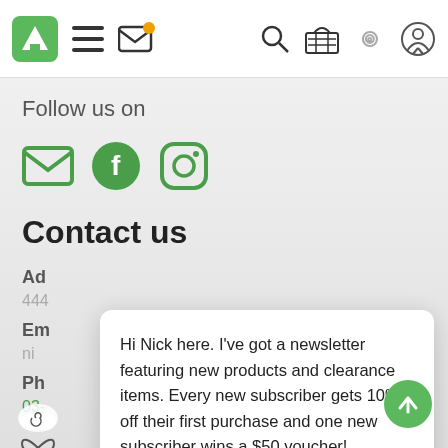[Figure (screenshot): Mobile website navigation bar with logo, hamburger menu, mail icon with orange notification dot, search, basket, spiral and person icons]
Follow us on
[Figure (infographic): Social media icons: email (green envelope), Facebook (green circle with f), Instagram (green circle with camera)]
Contact us
Ad
444
Em
ni
Ph
03-
[Figure (photo): Circular profile photo of a man (Nick) with short hair and beard]
Hi Nick here. I've got a newsletter featuring new products and clearance items. Every new subscriber gets 10% off their first purchase and one new subscriber wins a $50 voucher!
Learn More
No Thanks